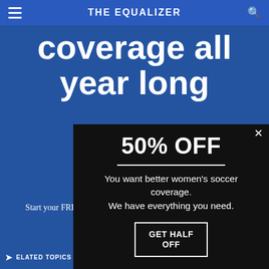THE EQUALIZER
coverage all year long
Start your FREE, 7-day trial of The Equalizer Extra for industry-leading reporting
[Figure (screenshot): Popup modal with dark background showing 50% OFF promotion for The Equalizer Extra women's soccer coverage subscription]
ELATED TOPICS